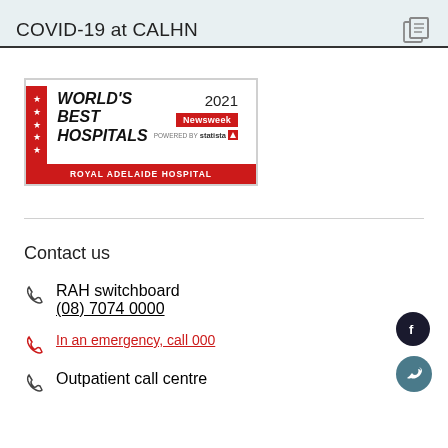COVID-19 at CALHN
[Figure (logo): World's Best Hospitals 2021 badge — Newsweek powered by Statista — Royal Adelaide Hospital]
Contact us
RAH switchboard
(08) 7074 0000
In an emergency, call 000
Outpatient call centre